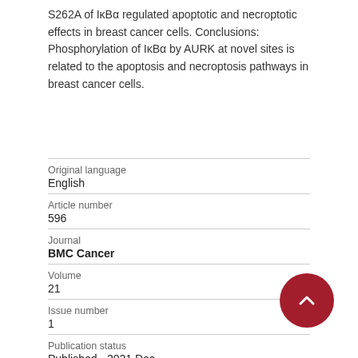S262A of IκBα regulated apoptotic and necroptotic effects in breast cancer cells. Conclusions: Phosphorylation of IκBα by AURK at novel sites is related to the apoptosis and necroptosis pathways in breast cancer cells.
| Original language | English |
| Article number | 596 |
| Journal | BMC Cancer |
| Volume | 21 |
| Issue number | 1 |
| Publication status | Published - 2021 Dec |